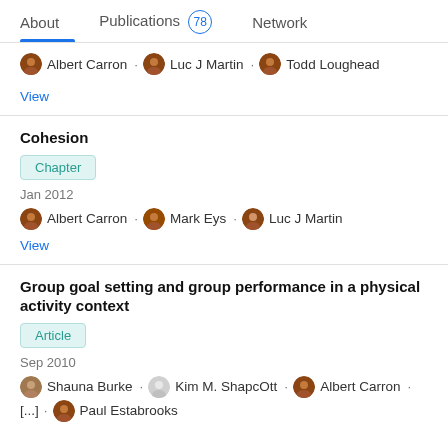About   Publications 78   Network
Albert Carron · Luc J Martin · Todd Loughead
View
Cohesion
Chapter
Jan 2012
Albert Carron · Mark Eys · Luc J Martin
View
Group goal setting and group performance in a physical activity context
Article
Sep 2010
Shauna Burke · Kim M. ShapcOtt · Albert Carron · [...] · Paul Estabrooks